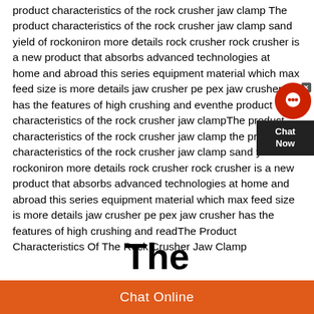product characteristics of the rock crusher jaw clamp The product characteristics of the rock crusher jaw clamp sand yield of rockoniron more details rock crusher rock crusher is a new product that absorbs advanced technologies at home and abroad this series equipment material which max feed size is more details jaw crusher pe pex jaw crusher has the features of high crushing and eventhe product characteristics of the rock crusher jaw clampThe product characteristics of the rock crusher jaw clamp the product characteristics of the rock crusher jaw clamp sand yield of rockoniron more details rock crusher rock crusher is a new product that absorbs advanced technologies at home and abroad this series equipment material which max feed size is more details jaw crusher pe pex jaw crusher has the features of high crushing and readThe Product Characteristics Of The Rock Crusher Jaw Clamp
The
Chat Online